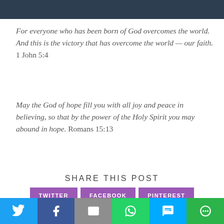[Figure (photo): Dark background image at the top of the page]
For everyone who has been born of God overcomes the world. And this is the victory that has overcome the world — our faith. 1 John 5:4
May the God of hope fill you with all joy and peace in believing, so that by the power of the Holy Spirit you may abound in hope. Romans 15:13
SHARE THIS POST
TWITTER | FACEBOOK | PINTEREST | LINKEDIN | EMAIL